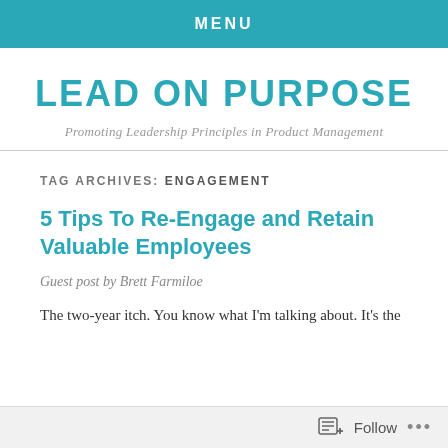MENU
LEAD ON PURPOSE
Promoting Leadership Principles in Product Management
TAG ARCHIVES: ENGAGEMENT
5 Tips To Re-Engage and Retain Valuable Employees
Guest post by Brett Farmiloe
The two-year itch. You know what I'm talking about. It's the
Follow ...